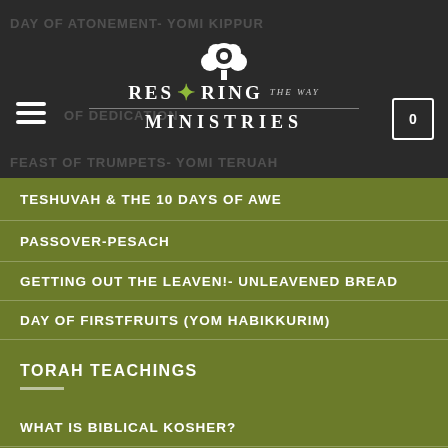Restoring The Way Ministries
TESHUVAH & THE 10 DAYS OF AWE
PASSOVER-PESACH
GETTING OUT THE LEAVEN!- UNLEAVENED BREAD
DAY OF FIRSTFRUITS (YOM HABIKKURIM)
TORAH TEACHINGS
WHAT IS BIBLICAL KOSHER?
WHAT DOES THE BIBLE SAY ABOUT THE SABBATH DAY?